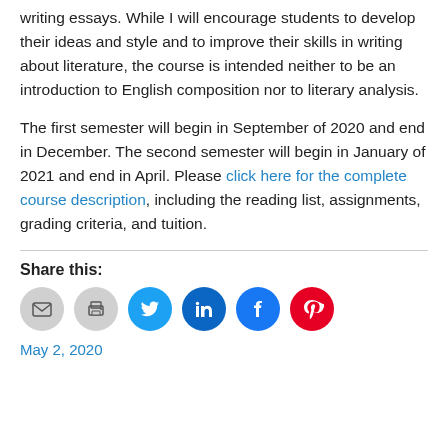writing essays. While I will encourage students to develop their ideas and style and to improve their skills in writing about literature, the course is intended neither to be an introduction to English composition nor to literary analysis.
The first semester will begin in September of 2020 and end in December. The second semester will begin in January of 2021 and end in April. Please click here for the complete course description, including the reading list, assignments, grading criteria, and tuition.
Share this:
[Figure (other): Row of social sharing icon buttons: email (grey), print (grey), Twitter (blue), LinkedIn (dark blue), Facebook (blue), Pinterest (red)]
May 2, 2020